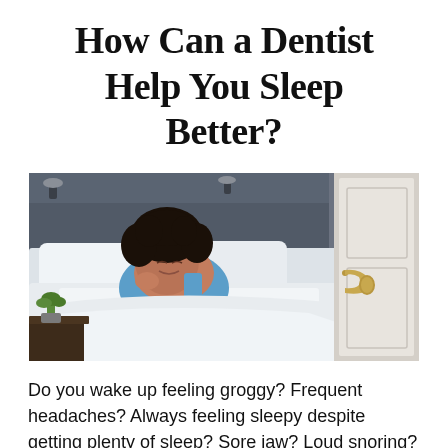How Can a Dentist Help You Sleep Better?
[Figure (photo): A woman with curly black hair lying in bed, sleeping comfortably on white pillows and sheets. She is wearing a light blue top. A small potted plant is visible on a nightstand in the lower left. A door with a gold/brass handle is partially visible on the right side. The bedroom has grey walls.]
Do you wake up feeling groggy? Frequent headaches? Always feeling sleepy despite getting plenty of sleep? Sore jaw? Loud snoring? Well, these are